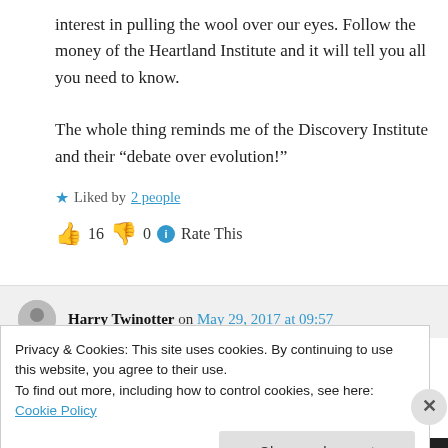interest in pulling the wool over our eyes. Follow the money of the Heartland Institute and it will tell you all you need to know.
The whole thing reminds me of the Discovery Institute and their “debate over evolution!”
★ Liked by 2 people
👍 16 👎 0 ℹ Rate This
Harry Twinotter on May 29, 2017 at 09:57
Privacy & Cookies: This site uses cookies. By continuing to use this website, you agree to their use.
To find out more, including how to control cookies, see here: Cookie Policy
Close and accept